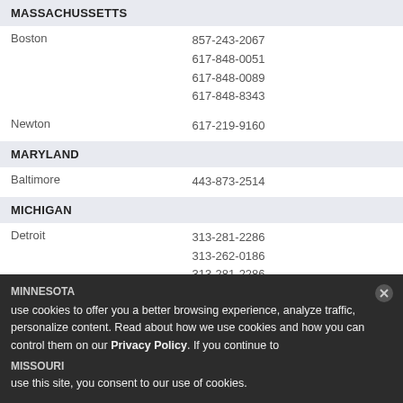| City | Phone Numbers |
| --- | --- |
| MASSACHUSSETTS |  |
| Boston | 857-243-2067
617-848-0051
617-848-0089
617-848-8343 |
| Newton | 617-219-9160 |
| MARYLAND |  |
| Baltimore | 443-873-2514 |
| MICHIGAN |  |
| Detroit | 313-281-2286
313-262-0186
313-281-2286
313-662-5123
313-887-6565 |
| MINNESOTA |  |
| MISSOURI |  |
use cookies to offer you a better browsing experience, analyze traffic, personalize content. Read about how we use cookies and how you can control them on our Privacy Policy. If you continue to use this site, you consent to our use of cookies.